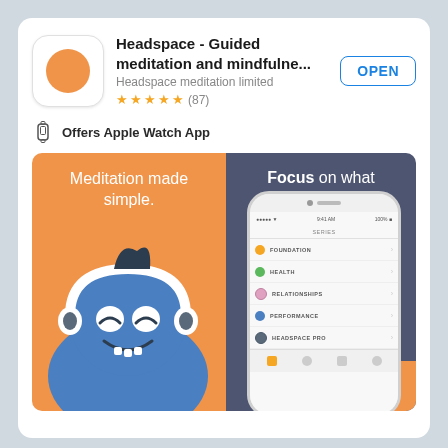[Figure (screenshot): Headspace app store listing showing app icon (white rounded square with orange circle), app title 'Headspace - Guided meditation and mindfulne...', developer 'Headspace meditation limited', 4.5 star rating (87 reviews), OPEN button, Apple Watch badge, and two app screenshots: left showing orange background with blue monster character and text 'Meditation made simple.', right showing dark blue background with smartphone mockup displaying app series menu (Foundation, Health, Relationships, Performance, Headspace Pro) and text 'Focus on what matters to you.']
Headspace - Guided meditation and mindfulne...
Headspace meditation limited
★★★★½ (87)
Offers Apple Watch App